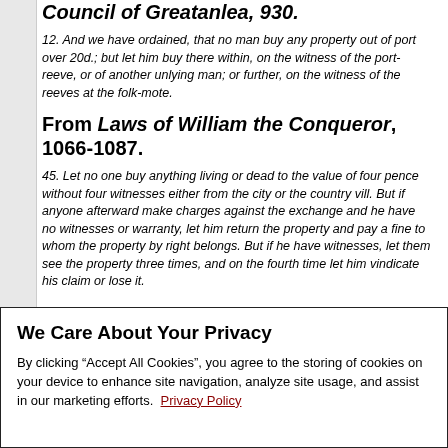Council of Greatanlea, 930.
12. And we have ordained, that no man buy any property out of port over 20d.; but let him buy there within, on the witness of the port-reeve, or of another unlying man; or further, on the witness of the reeves at the folk-mote.
From Laws of William the Conqueror, 1066-1087.
45. Let no one buy anything living or dead to the value of four pence without four witnesses either from the city or the country vill. But if anyone afterward make charges against the exchange and he have no witnesses or warranty, let him return the property and pay a fine to whom the property by right belongs. But if he have witnesses, let them see the property three times, and on the fourth time let him vindicate his claim or lose it.
We Care About Your Privacy
By clicking “Accept All Cookies”, you agree to the storing of cookies on your device to enhance site navigation, analyze site usage, and assist in our marketing efforts.  Privacy Policy